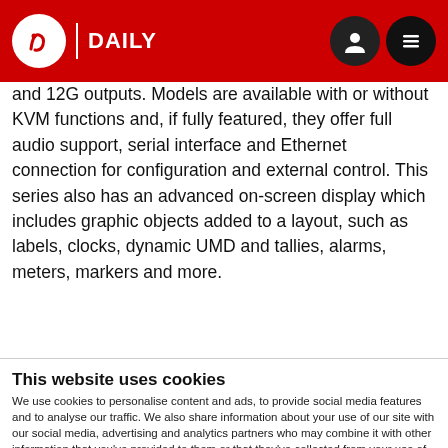IBC DAILY
and 12G outputs. Models are available with or without KVM functions and, if fully featured, they offer full audio support, serial interface and Ethernet connection for configuration and external control. This series also has an advanced on-screen display which includes graphic objects added to a layout, such as labels, clocks, dynamic UMD and tallies, alarms, meters, markers and more.
This website uses cookies
We use cookies to personalise content and ads, to provide social media features and to analyse our traffic. We also share information about your use of our site with our social media, advertising and analytics partners who may combine it with other information that you've provided to them or that they've collected from your use of their services. You can opt out of certain types of cookies below before proceeding to the website.
Use necessary cookies only | Allow all cookies
Show details